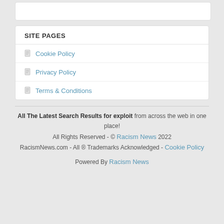SITE PAGES
Cookie Policy
Privacy Policy
Terms & Conditions
All The Latest Search Results for exploit from across the web in one place! All Rights Reserved - © Racism News 2022 RacismNews.com - All ® Trademarks Acknowledged - Cookie Policy
Powered By Racism News